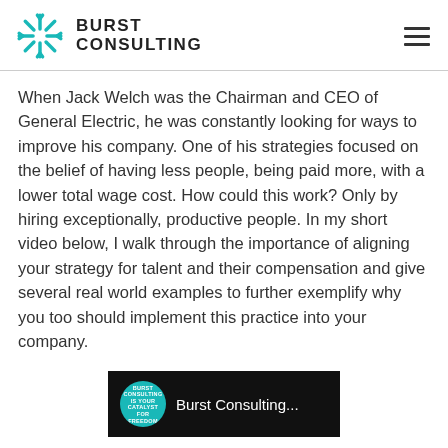BURST CONSULTING
When Jack Welch was the Chairman and CEO of General Electric, he was constantly looking for ways to improve his company. One of his strategies focused on the belief of having less people, being paid more, with a lower total wage cost. How could this work? Only by hiring exceptionally, productive people. In my short video below, I walk through the importance of aligning your strategy for talent and their compensation and give several real world examples to further exemplify why you too should implement this practice into your company.
[Figure (screenshot): Video thumbnail showing Burst Consulting logo on dark background with teal circle logo and text 'Burst Consulting...']